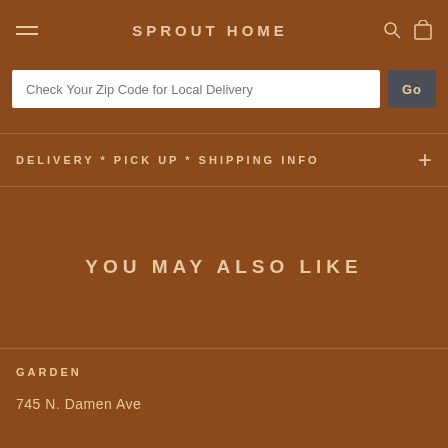SPROUT HOME
Check Your Zip Code for Local Delivery
DELIVERY * PICK UP * SHIPPING INFO
YOU MAY ALSO LIKE
GARDEN
745 N. Damen Ave